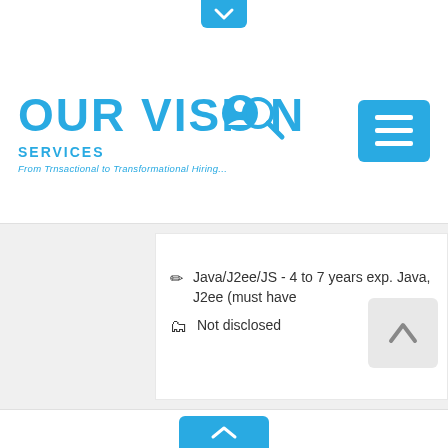[Figure (logo): Our Vision Services logo with tagline 'From Trnsactional to Transformational Hiring...' in blue]
[Figure (screenshot): Hamburger menu button in blue]
Java/J2ee/JS - 4 to 7 years exp. Java, J2ee (must have
Not disclosed
[Figure (other): Scroll to top button with upward arrow]